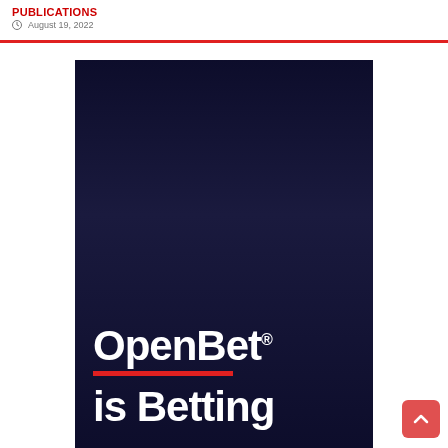August 19, 2022
[Figure (logo): OpenBet logo on dark navy background with the text 'OpenBet®' in large bold white letters with a red underline bar, and 'is Betting' in large bold white letters below.]